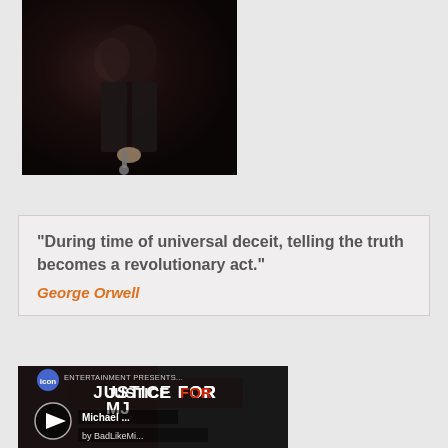[Figure (photo): Dark performance photo of a person in a black jacket holding a microphone, photographed against a dark background]
"During time of universal deceit, telling the truth becomes a revolutionary act."
George Orwell
[Figure (screenshot): Video thumbnail showing Justice For MJ (Justice for Michael Jackson) with a play button, channel icon, title 'Michael...' and attribution 'by BadLikeMi...']